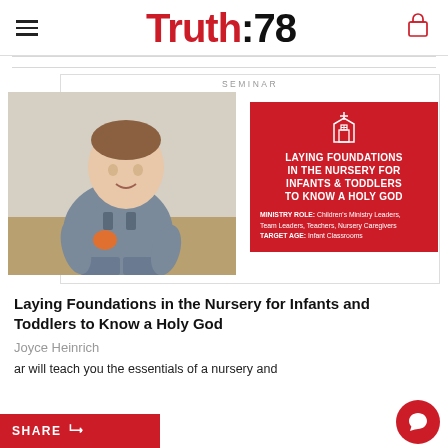Truth:78
[Figure (photo): Product seminar book cover showing a toddler boy in a gray shirt sitting on a floor, alongside a red card overlay reading LAYING FOUNDATIONS IN THE NURSERY FOR INFANTS & TODDLERS TO KNOW A HOLY GOD with a church icon, ministry role and target age details. Labeled SEMINAR at top.]
Laying Foundations in the Nursery for Infants and Toddlers to Know a Holy God
Joyce Heinrich
ar will teach you the essentials of a nursery and into that encourage biblical to this encouraged